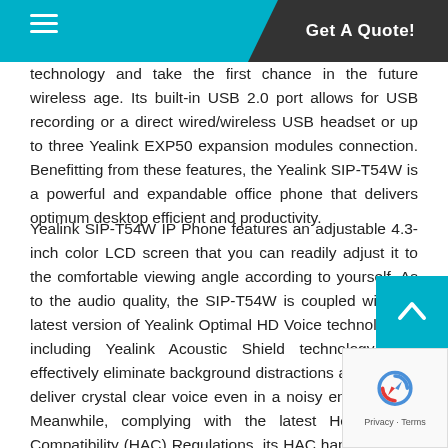Get A Quote!
technology and take the first chance in the future wireless age. Its built-in USB 2.0 port allows for USB recording or a direct wired/wireless USB headset or up to three Yealink EXP50 expansion modules connection. Benefitting from these features, the Yealink SIP-T54W is a powerful and expandable office phone that delivers optimum desktop efficient and productivity.
Yealink SIP-T54W IP Phone features an adjustable 4.3-inch color LCD screen that you can readily adjust it to the comfortable viewing angle according to yourself. As to the audio quality, the SIP-T54W is coupled with the latest version of Yealink Optimal HD Voice technologies, including Yealink Acoustic Shield technology, that effectively eliminate background distractions and noises, deliver crystal clear voice even in a noisy environment. Meanwhile, complying with the latest Hearing Aid Compatibility (HAC) Regulations, its HAC handset helps the person who is with hearing loss to hear the voice more c